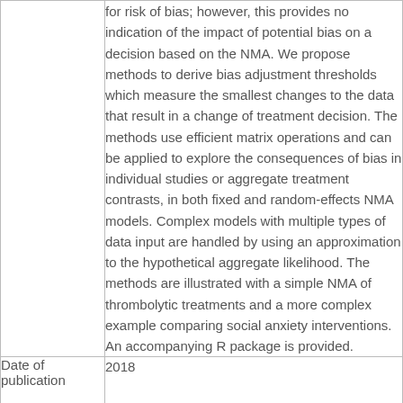|  | for risk of bias; however, this provides no indication of the impact of potential bias on a decision based on the NMA. We propose methods to derive bias adjustment thresholds which measure the smallest changes to the data that result in a change of treatment decision. The methods use efficient matrix operations and can be applied to explore the consequences of bias in individual studies or aggregate treatment contrasts, in both fixed and random-effects NMA models. Complex models with multiple types of data input are handled by using an approximation to the hypothetical aggregate likelihood. The methods are illustrated with a simple NMA of thrombolytic treatments and a more complex example comparing social anxiety interventions. An accompanying R package is provided. |
| Date of publication | 2018 |